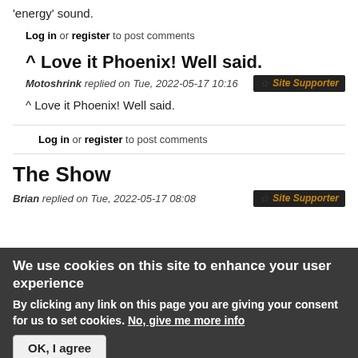'energy' sound.
Log in or register to post comments
^ Love it Phoenix! Well said.
Motoshrink replied on Tue, 2022-05-17 10:16
^ Love it Phoenix! Well said.
Log in or register to post comments
The Show
Brian replied on Tue, 2022-05-17 08:08
We use cookies on this site to enhance your user experience
By clicking any link on this page you are giving your consent for us to set cookies. No, give me more info
OK, I agree